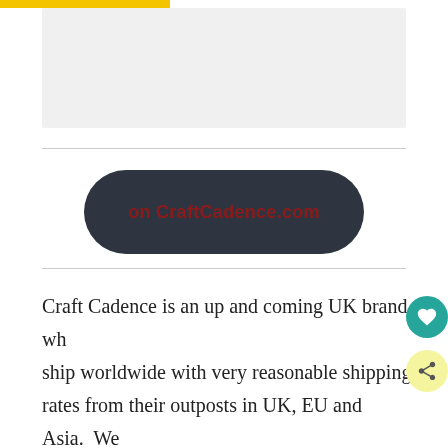[Figure (other): Gray image placeholder box at top of page]
[Figure (other): Dark rounded pill button with text 'on CraftCadence.com' in dark red]
Craft Cadence is an up and coming UK brand wh ship worldwide with very reasonable shipping rates from their outposts in UK, EU and Asia. We were intrigued by their innovative